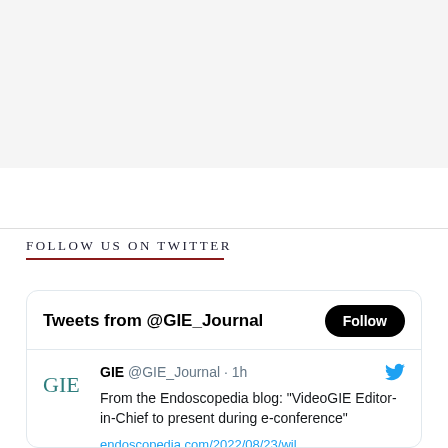FOLLOW US ON TWITTER
[Figure (screenshot): Embedded Twitter widget showing tweets from @GIE_Journal. Tweet from GIE @GIE_Journal 1h ago: From the Endoscopedia blog: "VideoGIE Editor-in-Chief to present during e-conference" with a link to endoscopedia.com/2022/08/23/wil...]